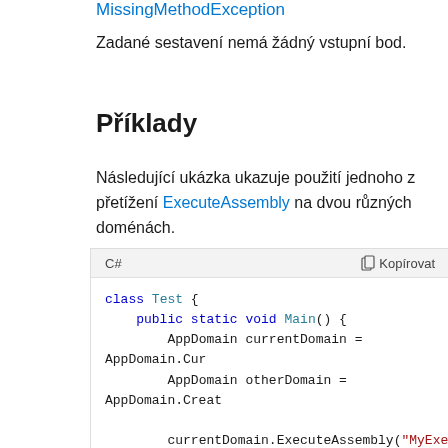MissingMethodException
Zadané sestavení nemá žádný vstupní bod.
Příklady
Následující ukázka ukazuje použití jednoho z přetížení ExecuteAssembly na dvou různých doménách.
[Figure (screenshot): C# code block showing class Test with public static void Main() method, AppDomain currentDomain and otherDomain variables, and calls to ExecuteAssembly with string arguments and comments about output.]